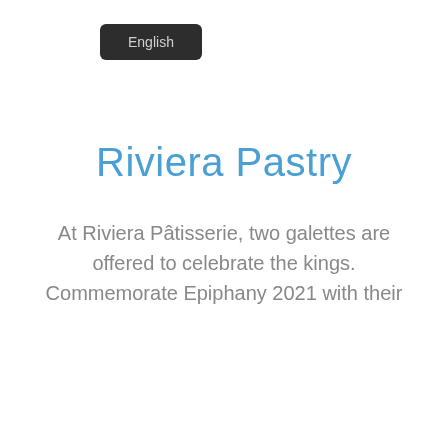[Figure (screenshot): Dark rounded rectangle button with 'English' text label in light gray]
Riviera Pastry
At Riviera Pâtisserie, two galettes are offered to celebrate the kings. Commemorate Epiphany 2021 with their
[Figure (screenshot): Bottom navigation bar with one checked checkbox and four unchecked checkboxes, a gear/settings icon below, and two progress bars (green and dark) at the bottom]